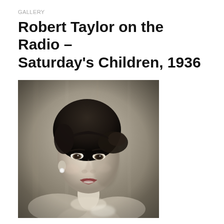GALLERY
Robert Taylor on the Radio – Saturday's Children, 1936
[Figure (photo): Black and white portrait photograph of a young woman with dark curled hair styled up, wearing a strapless or off-shoulder outfit, smiling slightly, posed against a softly lit studio background.]